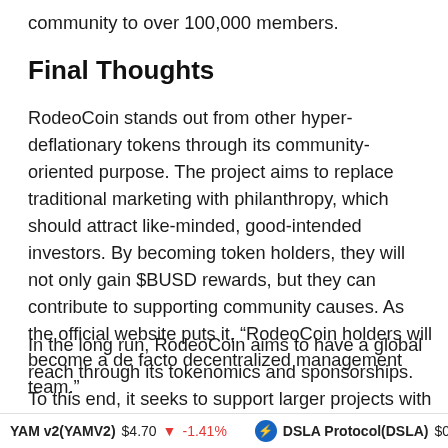community to over 100,000 members.
Final Thoughts
RodeoCoin stands out from other hyper-deflationary tokens through its community-oriented purpose. The project aims to replace traditional marketing with philanthropy, which should attract like-minded, good-intended investors. By becoming token holders, they will not only gain $BUSD rewards, but they can contribute to supporting community causes. As the official website puts it, “RodeoCoin holders will become a de facto decentralized management team.”
In the long run, RodeoCoin aims to have a global reach through its tokenomics and sponsorships. To this end, it seeks to support larger projects with an even more
YAM v2(YAMV2)  $4.70  ▼  -1.41%     DSLA Protocol(DSLA)  $0.003680  ▼  -6